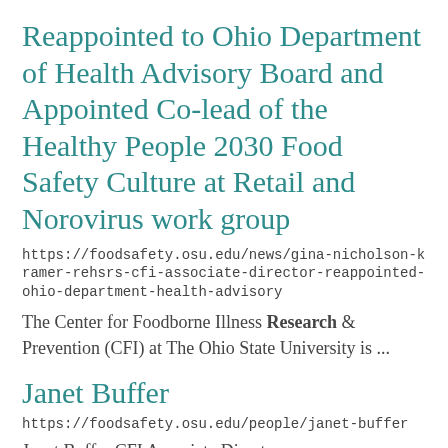Reappointed to Ohio Department of Health Advisory Board and Appointed Co-lead of the Healthy People 2030 Food Safety Culture at Retail and Norovirus work group
https://foodsafety.osu.edu/news/gina-nicholson-kramer-rehsrs-cfi-associate-director-reappointed-ohio-department-health-advisory
The Center for Foodborne Illness Research & Prevention (CFI) at The Ohio State University is ...
Janet Buffer
https://foodsafety.osu.edu/people/janet-buffer
Janet Buffer CFI Associate Director-